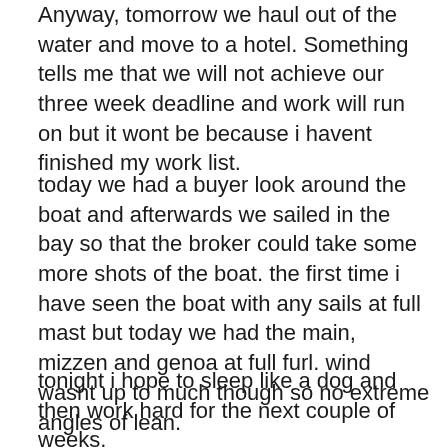Anyway, tomorrow we haul out of the water and move to a hotel. Something tells me that we will not achieve our three week deadline and work will run on but it wont be because i havent finished my work list.
today we had a buyer look around the boat and afterwards we sailed in the bay so that the broker could take some more shots of the boat. the first time i have seen the boat with any sails at full mast but today we had the main, mizzen and genoa at full furl. wind wasnt up to much though so no extreme angles of lean.
tonight i hope to sleep like a dog and then work hard for the next couple of weeks.
so nothing too exciting to add today, just that i am alive and well and busy checking out some fine italian ass!!